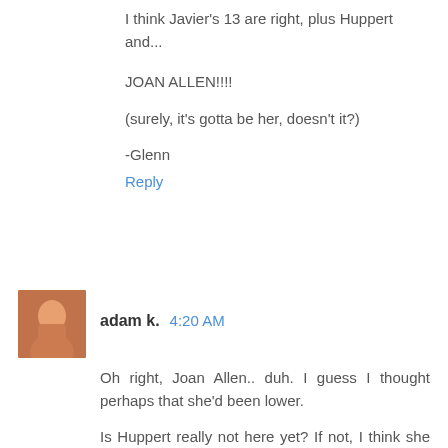I think Javier's 13 are right, plus Huppert and...
JOAN ALLEN!!!!
(surely, it's gotta be her, doesn't it?)
-Glenn
Reply
adam k.  4:20 AM
Oh right, Joan Allen.. duh. I guess I thought perhaps that she'd been lower.
Is Huppert really not here yet? If not, I think she and Deneuve might be a combo pack. If that's the case, then I say 11-15 (in no particular order) are:
Huppert
Deneuve
Thurman
McDormand